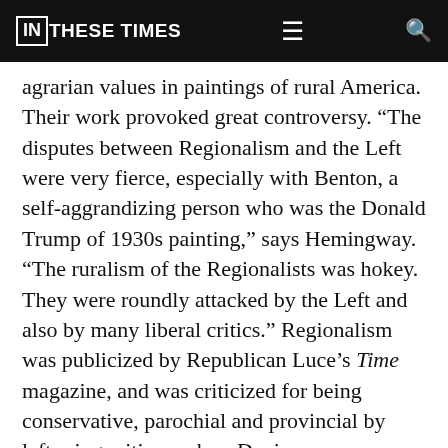IN THESE TIMES
agrarian values in paintings of rural America. Their work provoked great controversy. “The disputes between Regionalism and the Left were very fierce, especially with Benton, a self-aggrandizing person who was the Donald Trump of 1930s painting,” says Hemingway. “The ruralism of the Regionalists was hokey. They were roundly attacked by the Left and also by many liberal critics.” Regionalism was publicized by Republican Luce’s Time magazine, and was criticized for being conservative, parochial and provincial by left-wing critics such as Davis.
“To see Regionalism as any form of realism would be a mistake,” says Washington University in St. Louis professor Angela Miller. “It featured idealized…